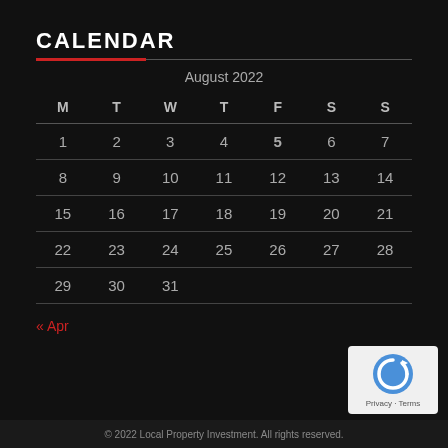CALENDAR
| M | T | W | T | F | S | S |
| --- | --- | --- | --- | --- | --- | --- |
| 1 | 2 | 3 | 4 | 5 | 6 | 7 |
| 8 | 9 | 10 | 11 | 12 | 13 | 14 |
| 15 | 16 | 17 | 18 | 19 | 20 | 21 |
| 22 | 23 | 24 | 25 | 26 | 27 | 28 |
| 29 | 30 | 31 |  |  |  |  |
« Apr
© 2022 Local Property Investment. All rights reserved.